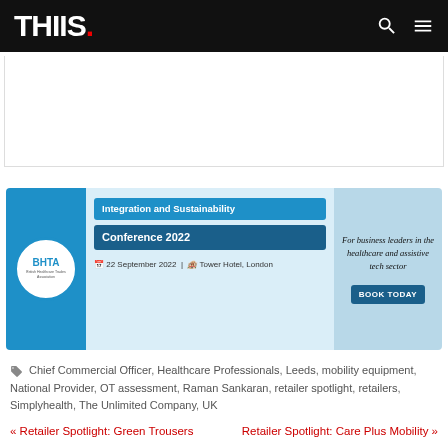THIIS.
[Figure (other): Red Sign up today banner button]
[Figure (other): BHTA Integration and Sustainability Conference 2022 advertisement. 22 September 2022 | The Tower Hotel, London. For business leaders in the healthcare and assistive tech sector. Book Today.]
Chief Commercial Officer, Healthcare Professionals, Leeds, mobility equipment, National Provider, OT assessment, Raman Sankaran, retailer spotlight, retailers, Simplyhealth, The Unlimited Company, UK
« Retailer Spotlight: Green Trousers
Retailer Spotlight: Care Plus Mobility »